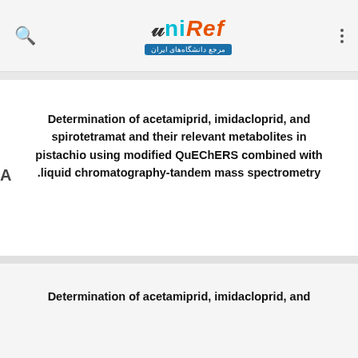UniRef - مرجع دانشگاه‌های ایران
Determination of acetamiprid, imidacloprid, and spirotetramat and their relevant metabolites in pistachio using modified QuEChERS combined with liquid chromatography-tandem mass spectrometry.
Determination of acetamiprid, imidacloprid, and